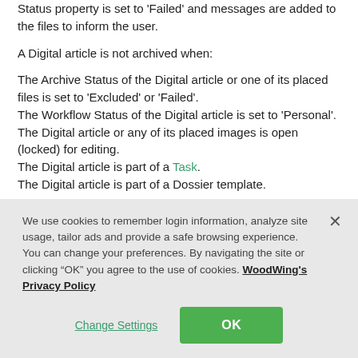Status property is set to 'Failed' and messages are added to the files to inform the user.
A Digital article is not archived when:
The Archive Status of the Digital article or one of its placed files is set to 'Excluded' or 'Failed'.
The Workflow Status of the Digital article is set to 'Personal'.
The Digital article or any of its placed images is open (locked) for editing.
The Digital article is part of a Task.
The Digital article is part of a Dossier template.
We use cookies to remember login information, analyze site usage, tailor ads and provide a safe browsing experience. You can change your preferences. By navigating the site or clicking “OK” you agree to the use of cookies. WoodWing's Privacy Policy